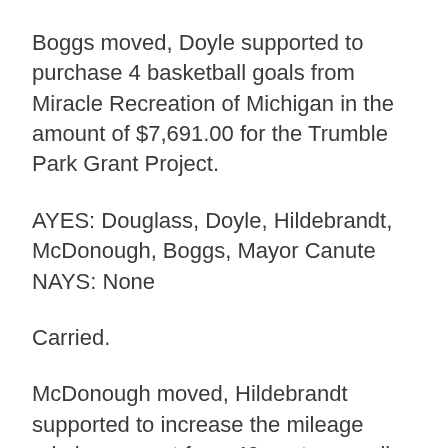Boggs moved, Doyle supported to purchase 4 basketball goals from Miracle Recreation of Michigan in the amount of $7,691.00 for the Trumble Park Grant Project.
AYES: Douglass, Doyle, Hildebrandt, McDonough, Boggs, Mayor Canute NAYS: None
Carried.
McDonough moved, Hildebrandt supported to increase the mileage reimbursement from 40 cents per mile to 58 ½ cents per mile driven for city business.